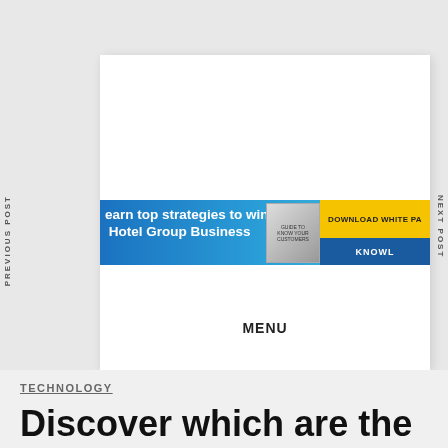[Figure (screenshot): Website screenshot showing a navigation overlay with PREVIOUS POST and NEXT POST sidebar labels, a blue banner advertisement reading 'Learn top strategies to win Hotel Group Business' with a DOWNLOAD WHITE PAPER button in yellow and KNOWL label, and a MENU navigation bar]
TECHNOLOGY
Discover which are the devices with which you